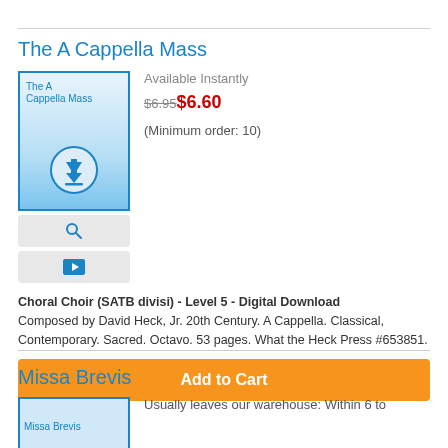The A Cappella Mass
Available Instantly
$6.95$6.60
(Minimum order: 10)
Choral Choir (SATB divisi) - Level 5 - Digital Download
Composed by David Heck, Jr. 20th Century. A Cappella. Classical, Contemporary. Sacred. Octavo. 53 pages. What the Heck Press #653851.
Add to Cart
Missa Brevis
Usually leaves our warehouse: Within 6 to